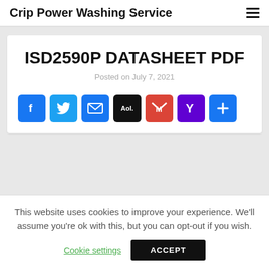Crip Power Washing Service
ISD2590P DATASHEET PDF
Posted on July 7, 2021
[Figure (infographic): Social sharing icons row: Facebook, Twitter, Email, AOL, Gmail, Yahoo, and a plus/more button]
This website uses cookies to improve your experience. We'll assume you're ok with this, but you can opt-out if you wish.
Cookie settings  ACCEPT